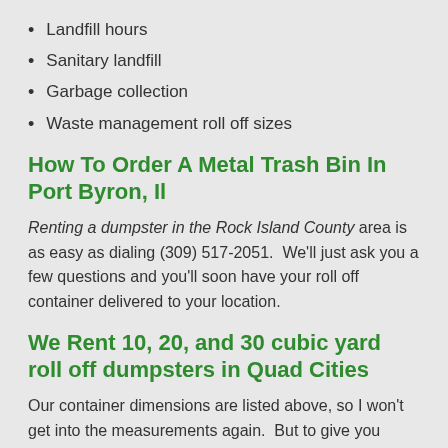Landfill hours
Sanitary landfill
Garbage collection
Waste management roll off sizes
How To Order A Metal Trash Bin In Port Byron, Il
Renting a dumpster in the Rock Island County area is as easy as dialing (309) 517-2051.  We'll just ask you a few questions and you'll soon have your roll off container delivered to your location.
We Rent 10, 20, and 30 cubic yard roll off dumpsters in Quad Cities
Our container dimensions are listed above, so I won't get into the measurements again.  But to give you